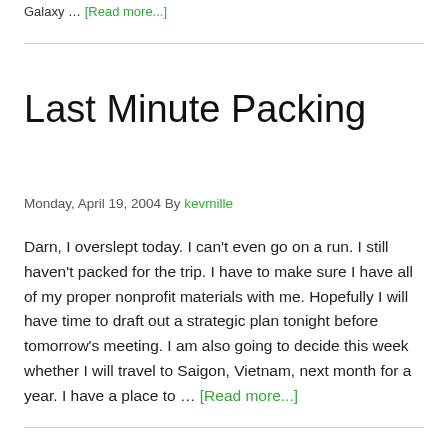Galaxy … [Read more...]
Last Minute Packing
Monday, April 19, 2004 By kevmille
Darn, I overslept today.  I can't even go on a run.  I still haven't packed for the trip.  I have to make sure I have all of my proper nonprofit materials with me.  Hopefully I will have time to draft out a strategic plan tonight before tomorrow's meeting.  I am also going to decide this week whether I will travel to Saigon, Vietnam, next month for a  year.  I have a place to … [Read more...]